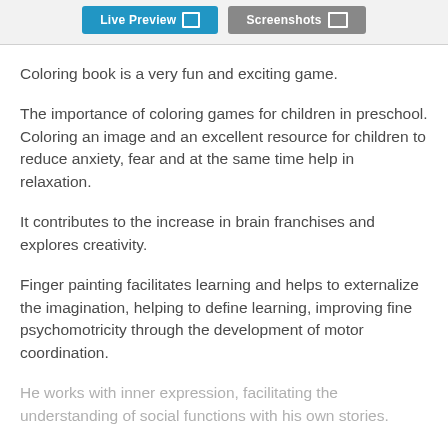[Figure (screenshot): Top bar with 'Live Preview' blue button and 'Screenshots' grey button]
Coloring book is a very fun and exciting game.
The importance of coloring games for children in preschool. Coloring an image and an excellent resource for children to reduce anxiety, fear and at the same time help in relaxation.
It contributes to the increase in brain franchises and explores creativity.
Finger painting facilitates learning and helps to externalize the imagination, helping to define learning, improving fine psychomotricity through the development of motor coordination.
He works with inner expression, facilitating the understanding of social functions with his own stories.